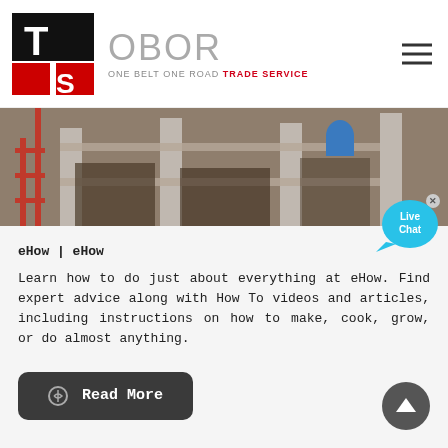[Figure (logo): TS OBOR One Belt One Road Trade Service logo with black and red T and S lettermark]
[Figure (photo): Construction site banner image showing scaffolding, concrete structure, and building materials]
[Figure (other): Live Chat speech bubble widget in cyan blue with X close button]
eHow | eHow
Learn how to do just about everything at eHow. Find expert advice along with How To videos and articles, including instructions on how to make, cook, grow, or do almost anything.
[Figure (other): Read More button with link icon, dark rounded rectangle]
[Figure (other): Scroll to top circular button with upward arrow]